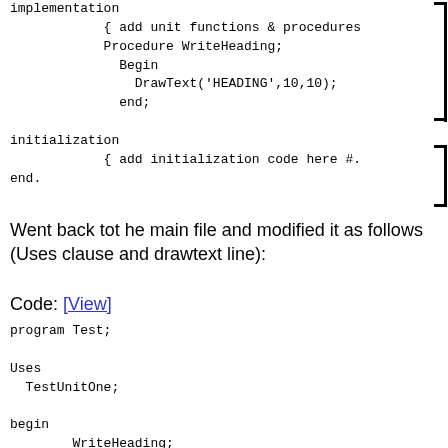implementation
            { add unit functions & procedures
            Procedure WriteHeading;
              Begin
                DrawText('HEADING',10,10);
              end;

initialization
            { add initialization code here {
end.
Went back tot he main file and modified it as follows (Uses clause and drawtext line):
Code: [View]
program Test;

Uses
  TestUnitOne;

begin
        WriteHeading;
        repaint;
        delay(2000);
end.
Seems to work fine.
William Sato